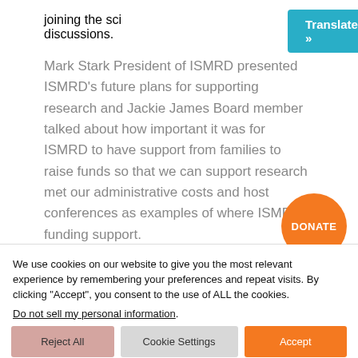joining the sci… inar discussions.
Mark Stark President of ISMRD presented ISMRD's future plans for supporting research and Jackie James Board member talked about how important it was for ISMRD to have support from families to raise funds so that we can support research met our administrative costs and host conferences as examples of where ISMRD funding support.
We use cookies on our website to give you the most relevant experience by remembering your preferences and repeat visits. By clicking "Accept", you consent to the use of ALL the cookies.
Do not sell my personal information.